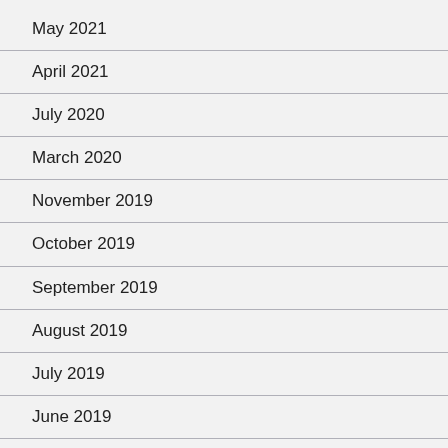May 2021
April 2021
July 2020
March 2020
November 2019
October 2019
September 2019
August 2019
July 2019
June 2019
May 2019